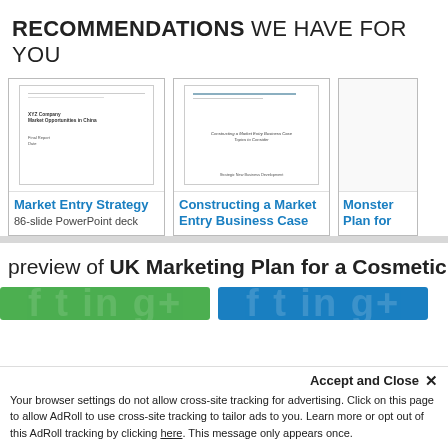RECOMMENDATIONS WE HAVE FOR YOU
[Figure (screenshot): Card showing a document preview labeled 'Market Entry Strategy']
Market Entry Strategy
86-slide PowerPoint deck
[Figure (screenshot): Card showing a document preview labeled 'Constructing a Market Entry Business Case']
Constructing a Market Entry Business Case
[Figure (screenshot): Partial card showing 'Monster Plan for']
Monster Plan for
preview of UK Marketing Plan for a Cosmetic Con
Accept and Close ✕
Your browser settings do not allow cross-site tracking for advertising. Click on this page to allow AdRoll to use cross-site tracking to tailor ads to you. Learn more or opt out of this AdRoll tracking by clicking here. This message only appears once.